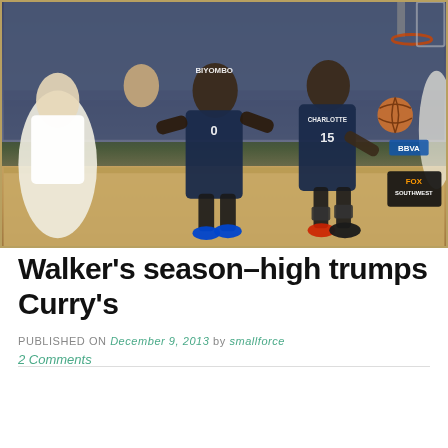[Figure (photo): Basketball game photo showing Charlotte Bobcats players including #0 Biyombo and #15 in navy uniforms dribbling against Dallas Mavericks defenders in white uniforms. FOX Southwest and BBVA signage visible in background. Indoor NBA arena with crowd.]
Walker's season–high trumps Curry's
PUBLISHED ON December 9, 2013 by smallforce
2 Comments